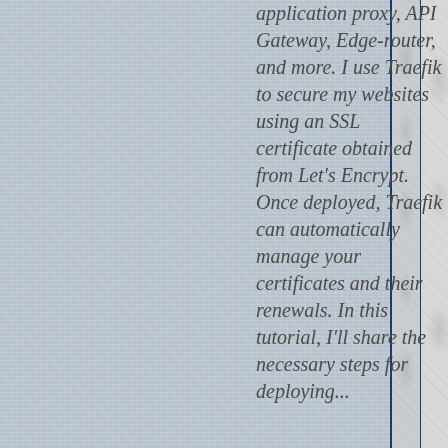[Figure (photo): Left panel showing a light blue-grey linen/fabric texture background, with a narrow decorative divider column featuring ornamental watermark patterns, bordered by dark blue vertical lines]
application proxy, API Gateway, Edge-router, and more. I use Traefik to secure my websites using an SSL certificate obtained from Let's Encrypt. Once deployed, Traefik can automatically manage your certificates and their renewals. In this tutorial, I'll share the necessary steps for deploying...